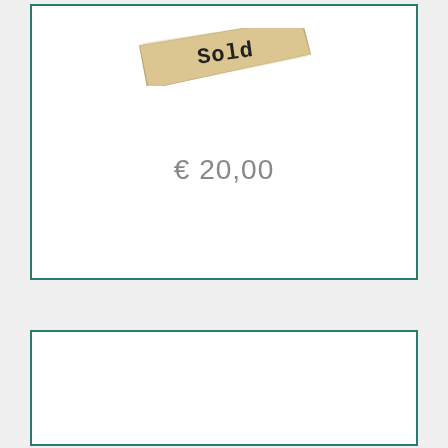[Figure (illustration): A tan/beige paper label tag with the word 'Sold' written in bold typewriter-style font, rotated slightly clockwise]
€ 20,00